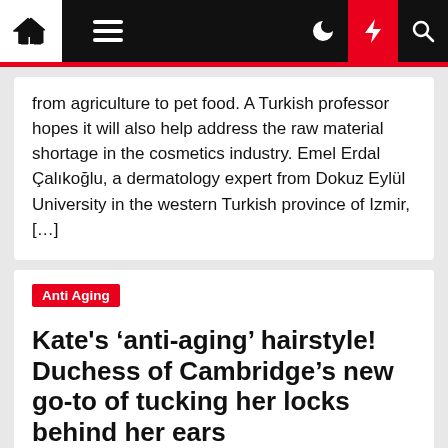Navigation bar with home, menu, dark mode, lightning, and search icons
from agriculture to pet food. A Turkish professor hopes it will also help address the raw material shortage in the cosmetics industry. Emel Erdal Çalıkoğlu, a dermatology expert from Dokuz Eylül University in the western Turkish province of Izmir, […]
Anti Aging
Kate's ‘anti-aging’ hairstyle! Duchess of Cambridge's new go-to of tucking her locks behind her ears
Anke Neustadt  3 months ago